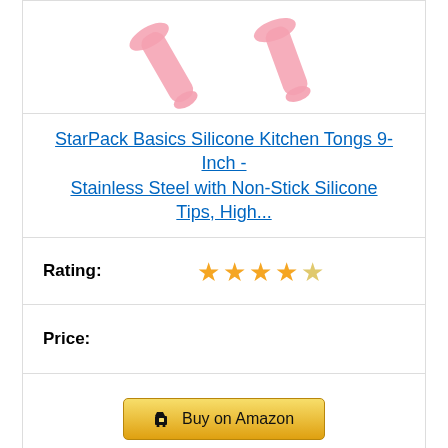[Figure (photo): Pink silicone kitchen tongs, partially visible at top of product card]
StarPack Basics Silicone Kitchen Tongs 9-Inch - Stainless Steel with Non-Stick Silicone Tips, High...
Rating: ★★★★☆
Price:
Buy on Amazon
1. Dragonn Premium Set of 2 inch...